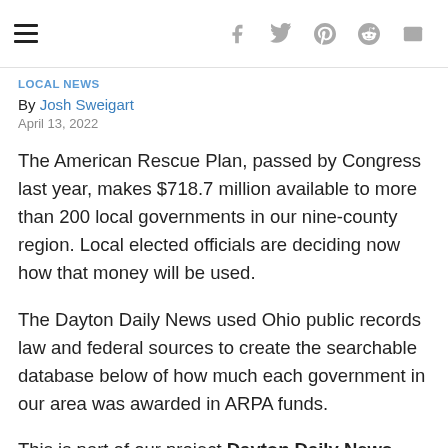LOCAL NEWS | Social share icons (Facebook, Twitter, Pinterest, Reddit, Email)
LOCAL NEWS
By Josh Sweigart
April 13, 2022
The American Rescue Plan, passed by Congress last year, makes $718.7 million available to more than 200 local governments in our nine-county region. Local elected officials are deciding now how that money will be used.
The Dayton Daily News used Ohio public records law and federal sources to create the searchable database below of how much each government in our area was awarded in ARPA funds.
This is part of our project Dayton Daily News